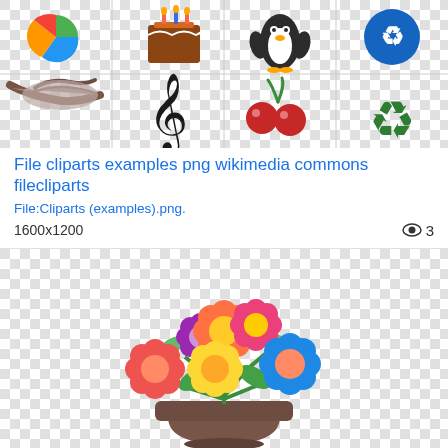[Figure (illustration): A grid of clipart icons on a checkered transparent background: pie chart, person, birthday cake, penguin, blue recycle bin icon (top row); handshake, treble clef musical note, cherries, green recycle symbol (bottom row)]
File cliparts examples png wikimedia commons filecliparts
File:Cliparts (examples).png.
1600x1200  👁 3
[Figure (illustration): A colorful cartoon bouquet of flowers in a brown pot on a checkered transparent background. Flowers include red, orange, pink, yellow, purple, and blue blooms with green leaves.]